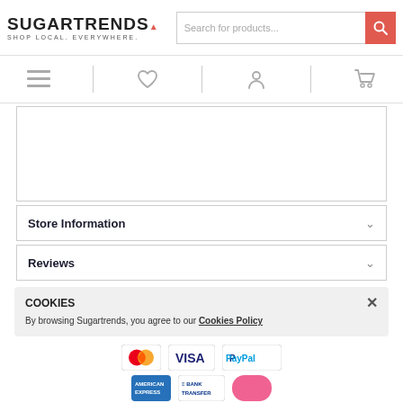SUGARTRENDS. SHOP LOCAL. EVERYWHERE. | Search for products...
[Figure (screenshot): Navigation icon bar with hamburger menu, heart/wishlist, user account, and shopping cart icons]
[Figure (screenshot): White product content area box with border]
Store Information
Reviews
COOKIES
By browsing Sugartrends, you agree to our Cookies Policy
[Figure (screenshot): Payment method icons: MasterCard, VISA, PayPal, American Express, Bank Transfer, and one more]